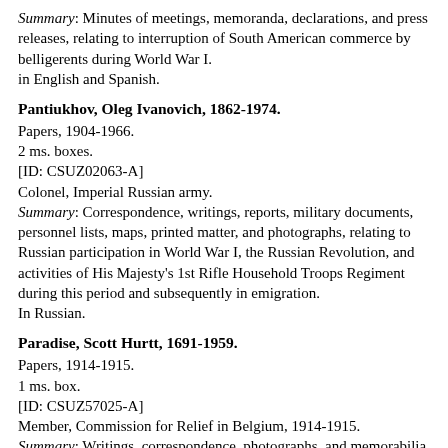Summary: Minutes of meetings, memoranda, declarations, and press releases, relating to interruption of South American commerce by belligerents during World War I. in English and Spanish.
Pantiukhov, Oleg Ivanovich, 1862-1974.
Papers, 1904-1966.
2 ms. boxes.
[ID: CSUZ02063-A]
Colonel, Imperial Russian army.
Summary: Correspondence, writings, reports, military documents, personnel lists, maps, printed matter, and photographs, relating to Russian participation in World War I, the Russian Revolution, and activities of His Majesty's 1st Rifle Household Troops Regiment during this period and subsequently in emigration.
In Russian.
Paradise, Scott Hurtt, 1691-1959.
Papers, 1914-1915.
1 ms. box.
[ID: CSUZ57025-A]
Member, Commission for Relief in Belgium, 1914-1915.
Summary: Writings, correspondence, photographs, and memorabilia, relating to Commission for Relief in Belgium relief activities and to conditions in Belgium during the German occupation in World War I.